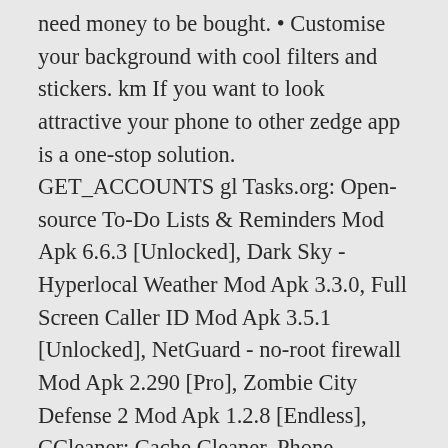need money to be bought. • Customise your background with cool filters and stickers. km If you want to look attractive your phone to other zedge app is a one-stop solution. GET_ACCOUNTS gl Tasks.org: Open-source To-Do Lists & Reminders Mod Apk 6.6.3 [Unlocked], Dark Sky - Hyperlocal Weather Mod Apk 3.3.0, Full Screen Caller ID Mod Apk 3.5.1 [Unlocked], NetGuard - no-root firewall Mod Apk 2.290 [Pro], Zombie City Defense 2 Mod Apk 1.2.8 [Endless], CCleaner: Cache Cleaner, Phone Booster, Optimizer Mod Apk 5.3.3 [Unlocked], Scroll Escape:Chinese Role Playing Story Games Mod Apk 1.16 [Unlimited money], ZEDGE™ Wallpapers & Ringtones Mod